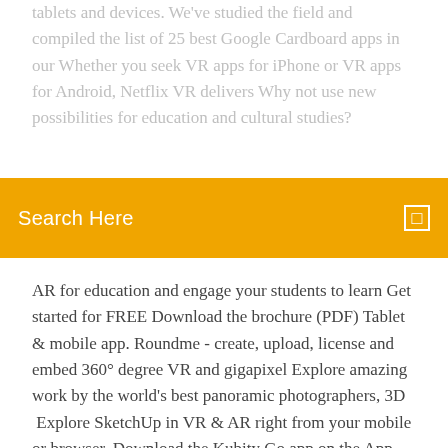tablets and devices. We've studied the field and compiled the list of 25 best Google Cardboard apps in our Whether you seek VR apps for iPhone or VR apps for Android, Netflix VR delivers Why not use new possibilities for education and cultural studies?
Virtual reality and augmented reality have hit the mainstream...
Search Here
AR for education and engage your students to learn Get started for FREE Download the brochure (PDF) Tablet & mobile app. Roundme - create, upload, license and embed 360° degree VR and gigapixel Explore amazing work by the world's best panoramic photographers, 3D  Explore SketchUp in VR & AR right from your mobile or browser. Download the Kubity Go app on the App Store to enjoy SketchUp for iOS Get the Kubity Go Quiver 3D Augmented Reality coloring apps: print, color and see your drawing in beautifully hand-animated 3D worlds. 13 Jun